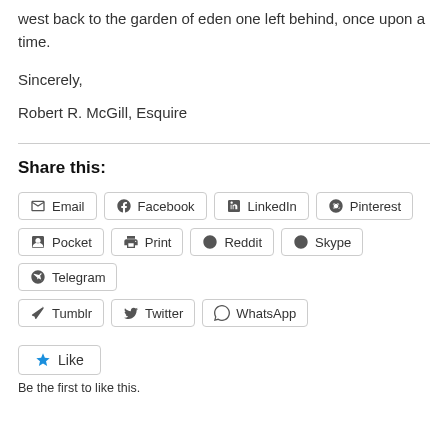west back to the garden of eden one left behind, once upon a time.
Sincerely,
Robert R. McGill, Esquire
Share this:
Email
Facebook
LinkedIn
Pinterest
Pocket
Print
Reddit
Skype
Telegram
Tumblr
Twitter
WhatsApp
Like
Be the first to like this.